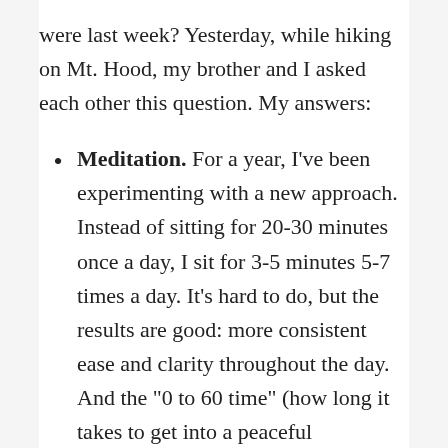were last week? Yesterday, while hiking on Mt. Hood, my brother and I asked each other this question. My answers:
Meditation. For a year, I've been experimenting with a new approach. Instead of sitting for 20-30 minutes once a day, I sit for 3-5 minutes 5-7 times a day. It's hard to do, but the results are good: more consistent ease and clarity throughout the day. And the “0 to 60 time” (how long it takes to get into a peaceful meditative buzz) goes from minutes to seconds. It’s time to do this